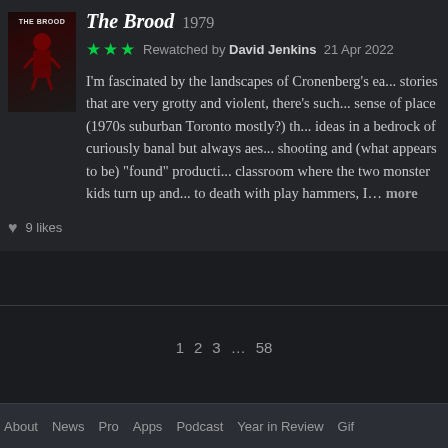[Figure (illustration): Movie poster for The Brood (1979) showing a dark red figure against a black background with white text 'THE BROOD']
The Brood 1979
Rewatched by David Jenkins 21 Apr 2022
I'm fascinated by the landscapes of Cronenberg's ea... stories that are very grotty and violent, there's such... sense of place (1970s suburban Toronto mostly?) th... ideas in a bedrock of curiously banal but always aes... shooting and (what appears to be) "found" producti... classroom where the two monster kids turn up and... to death with play hammers, I... more
9 likes
1 2 3 ... 58
About News Pro Apps Podcast Year in Review Gif